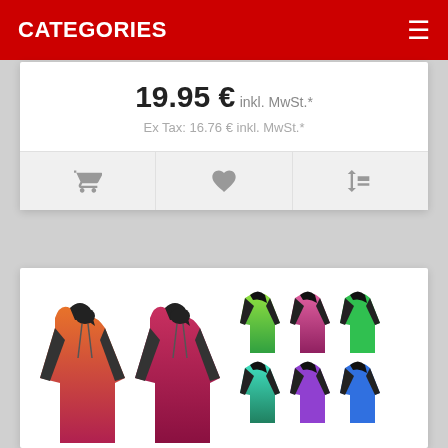CATEGORIES
19.95 € inkl. MwSt.*
Ex Tax: 16.76 € inkl. MwSt.*
[Figure (screenshot): Three action buttons: shopping cart, heart/wishlist, and compare arrows]
[Figure (photo): Product images of colorful sports jerseys/hoodies — a large pair of orange-red jerseys on the left and a grid of smaller multi-colored jerseys on the right]